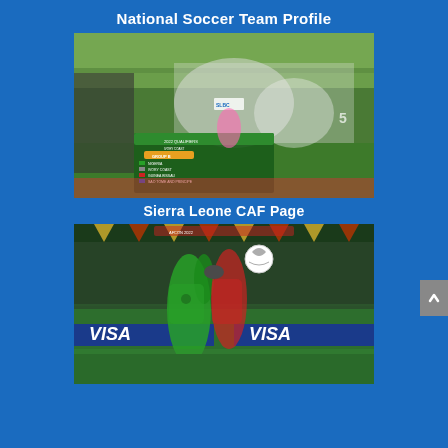National Soccer Team Profile
[Figure (photo): Sierra Leone national soccer team players celebrating on a football pitch, with a CAF qualifying stage screen visible showing Group B standings]
Sierra Leone CAF Page
[Figure (photo): Two soccer players competing for the ball during a match, with VISA advertising boards in the background, at what appears to be an Africa Cup of Nations match]